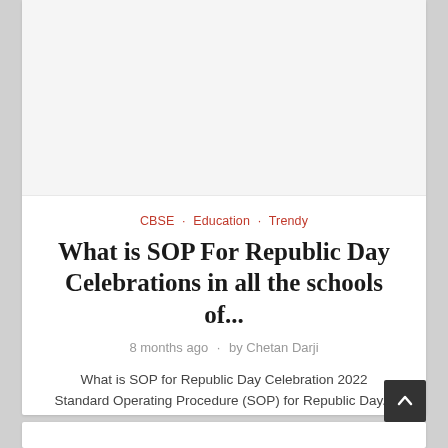CBSE · Education · Trendy
What is SOP For Republic Day Celebrations in all the schools of...
8 months ago · by Chetan Darji
What is SOP for Republic Day Celebration 2022 Standard Operating Procedure (SOP) for Republic Day...